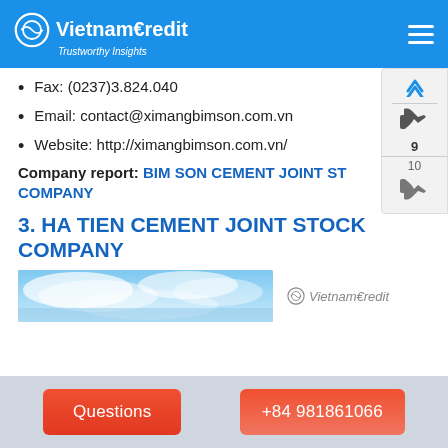VietnamCredit - Trustworthy Insights
Fax: (0237)3.824.040
Email: contact@ximangbimson.com.vn
Website: http://ximangbimson.com.vn/
Company report: BIM SON CEMENT JOINT ST COMPANY
3. HA TIEN CEMENT JOINT STOCK COMPANY
[Figure (photo): Ha Tien Cement company banner image with sky and clouds, accompanied by VietnamCredit logo]
Questions | +84 981861066